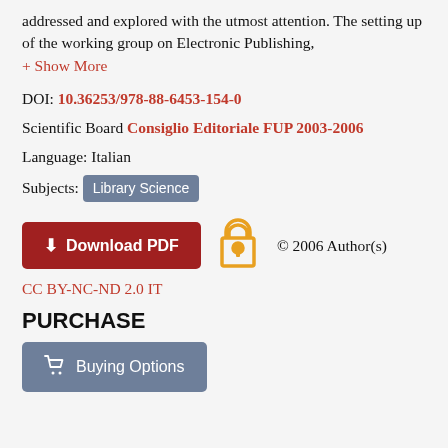addressed and explored with the utmost attention. The setting up of the working group on Electronic Publishing,
+ Show More
DOI: 10.36253/978-88-6453-154-0
Scientific Board Consiglio Editoriale FUP 2003-2006
Language: Italian
Subjects: Library Science
Download PDF   © 2006 Author(s)
CC BY-NC-ND 2.0 IT
PURCHASE
Buying Options